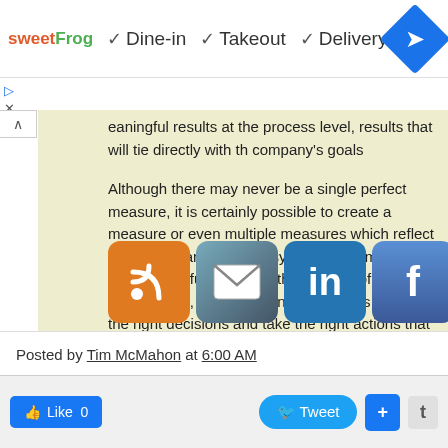[Figure (screenshot): Advertisement banner for sweetFrog showing Dine-in, Takeout, Delivery options with checkmarks and a blue navigation diamond icon]
eaningful results at the process level, results that will tie directly with the company's goals
Although there may never be a single perfect measure, it is certainly possible to create a measure or even multiple measures which reflect the performance of your system. If the metrics are chosen carefully, then, in the process of achieving their metrics, managers and employees will make the right decisions and take the right actions that enable the organization to maximize its performance.
[Figure (screenshot): Row of social media sharing icons: RSS, Email, LinkedIn, Facebook, Twitter, YouTube, and another social icon]
Posted by Tim McMahon at 6:00 AM
[Figure (screenshot): Bottom social bar with Like 0, Tweet, + buttons and t button]